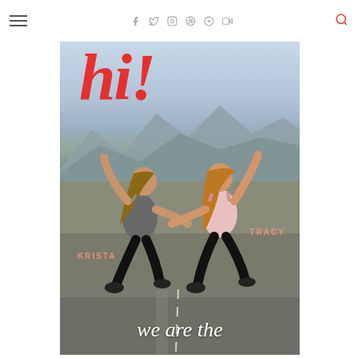Navigation header with hamburger menu, social icons (Facebook, Twitter, Instagram, Pinterest, Google+, YouTube), and search icon
[Figure (photo): Two women in athletic wear (one in gray tank top, one in pink tank top, both in black leggings) jumping joyfully on an outdoor road with mountains in background. Red cursive 'hi!' text overlaid at top left. Names 'KRISTA' and 'TRACY' labeled on each woman. White cursive text 'we are the' at bottom.]